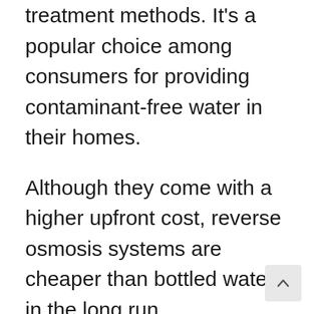treatment methods. It's a popular choice among consumers for providing contaminant-free water in their homes.
Although they come with a higher upfront cost, reverse osmosis systems are cheaper than bottled water in the long run.
After installation, you only need to worry about filter replacement, which is only done once or twice a year.
So, is it worth getting a reverse osmosis system? Absolutely!